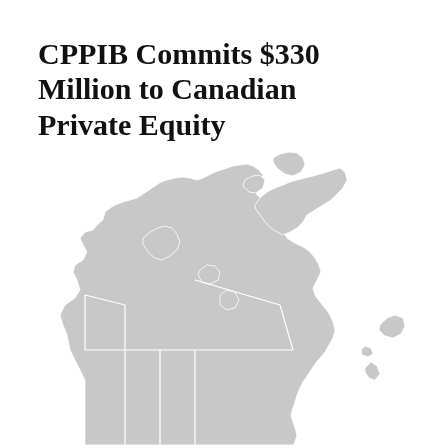CPPIB Commits $330 Million to Canadian Private Equity
[Figure (map): Silhouette map of Canada in light grey showing provincial and territorial boundaries as white lines, covering the full geographic extent of Canada including northern islands and archipelago.]